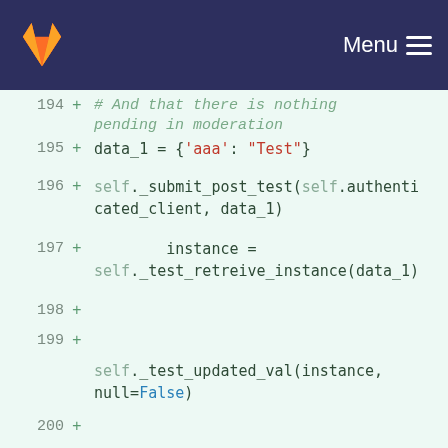[Figure (screenshot): GitLab logo in header navigation bar with dark navy background and Menu button]
194  +       # And that there is nothing pending in moderation
195  +       data_1 = {'aaa': "Test"}
196  +  self._submit_post_test(self.authenticated_client, data_1)
197  +       instance = self._test_retreive_instance(data_1)
198  +
199  +  self._test_updated_val(instance, null=False)
200  +  self._test_moderated_val(instance, null=False)
201  +  self.assertEqual(instance.updated_by, self.authenticated_user)
202  +  self.assertEqual(instance.moderated